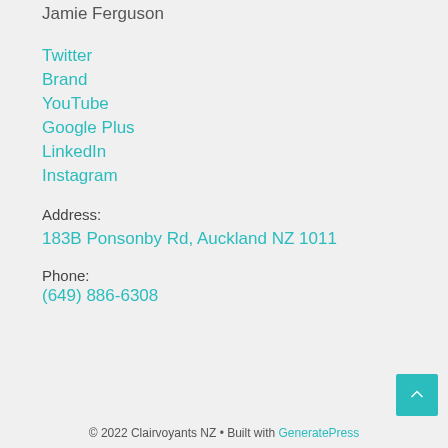Jamie Ferguson
Twitter
Brand
YouTube
Google Plus
LinkedIn
Instagram
Address:
183B Ponsonby Rd, Auckland NZ 1011
Phone:
(649) 886-6308
© 2022 Clairvoyants NZ • Built with GeneratePress